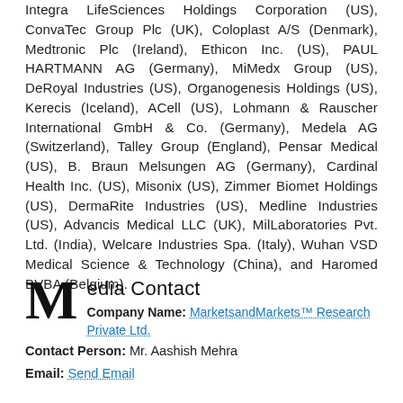Integra LifeSciences Holdings Corporation (US), ConvaTec Group Plc (UK), Coloplast A/S (Denmark), Medtronic Plc (Ireland), Ethicon Inc. (US), PAUL HARTMANN AG (Germany), MiMedx Group (US), DeRoyal Industries (US), Organogenesis Holdings (US), Kerecis (Iceland), ACell (US), Lohmann & Rauscher International GmbH & Co. (Germany), Medela AG (Switzerland), Talley Group (England), Pensar Medical (US), B. Braun Melsungen AG (Germany), Cardinal Health Inc. (US), Misonix (US), Zimmer Biomet Holdings (US), DermaRite Industries (US), Medline Industries (US), Advancis Medical LLC (UK), MilLaboratories Pvt. Ltd. (India), Welcare Industries Spa. (Italy), Wuhan VSD Medical Science & Technology (China), and Haromed BVBA (Belgium).
Media Contact
Company Name: MarketsandMarkets™ Research Private Ltd.
Contact Person: Mr. Aashish Mehra
Email: Send Email